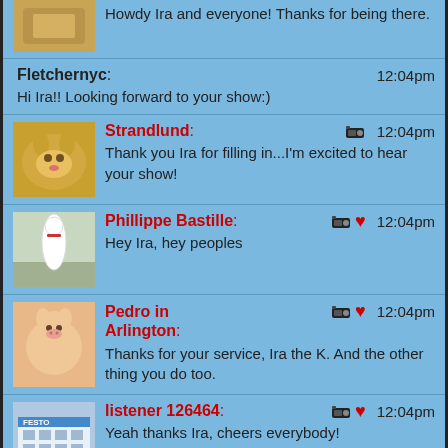Howdy Ira and everyone! Thanks for being there.
Fletchernyc: 12:04pm
Hi Ira!! Looking forward to your show:)
Strandlund: 12:04pm
Thank you Ira for filling in...I'm excited to hear your show!
Phillippe Bastille: 12:04pm
Hey Ira, hey peoples
Pedro in Arlington: 12:04pm
Thanks for your service, Ira the K. And the other thing you do too.
listener 126464: 12:04pm
Yeah thanks Ira, cheers everybody!
MONEYBAG$: 12:04pm
Hello Ira! Last week when things started going down, I needed music to relax and picked Dan Hicks
steveL: 12:04pm